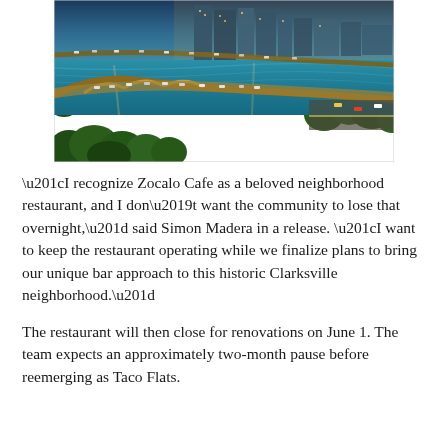[Figure (photo): Aerial view of a city with a stone arch bridge over a blue-green river, surrounded by trees and buildings with urban skyline in background, photographed at dusk or golden hour.]
“I recognize Zocalo Cafe as a beloved neighborhood restaurant, and I don’t want the community to lose that overnight,” said Simon Madera in a release. “I want to keep the restaurant operating while we finalize plans to bring our unique bar approach to this historic Clarksville neighborhood.”
The restaurant will then close for renovations on June 1. The team expects an approximately two-month pause before reemerging as Taco Flats.